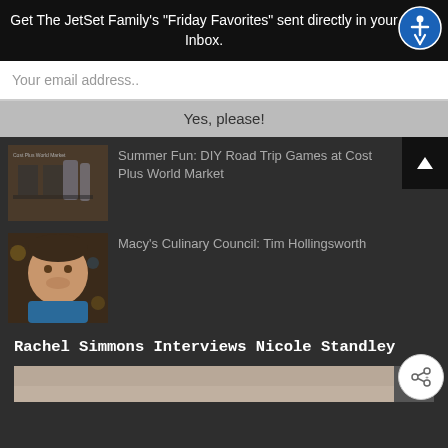Get The JetSet Family's "Friday Favorites" sent directly in your Inbox.
Your email address..
Yes, please!
[Figure (photo): Thumbnail image of cards and drinks on a table at Cost Plus World Market]
Summer Fun: DIY Road Trip Games at Cost Plus World Market
[Figure (photo): Portrait photo of Tim Hollingsworth smiling, wearing a blue shirt, in a restaurant setting]
Macy's Culinary Council: Tim Hollingsworth
Rachel Simmons Interviews Nicole Standley
[Figure (photo): Partially visible bottom image, cropped]